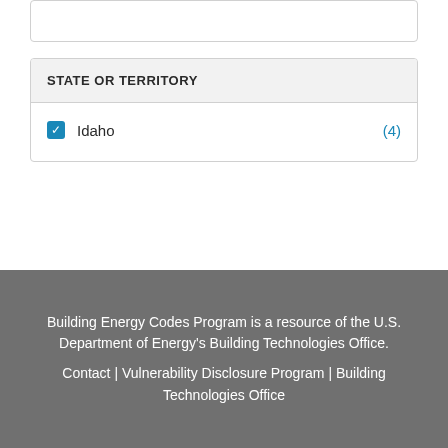STATE OR TERRITORY
Idaho (4)
Building Energy Codes Program is a resource of the U.S. Department of Energy's Building Technologies Office. Contact | Vulnerability Disclosure Program | Building Technologies Office